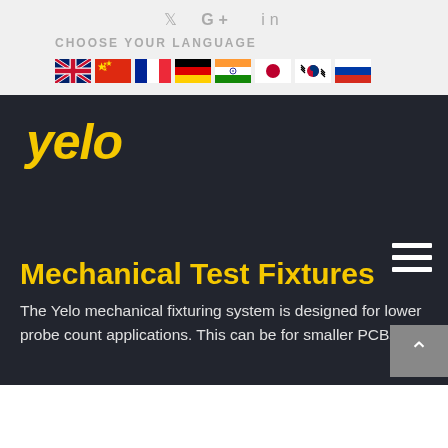Twitter G+ in
CHOOSE YOUR LANGUAGE
[Figure (other): Row of country flags: UK, China, France, Germany, India, Japan, South Korea, Russia]
[Figure (logo): Yelo logo in yellow italic bold text on dark background]
[Figure (other): Hamburger menu icon (three white horizontal bars)]
Mechanical Test Fixtures
The Yelo mechanical fixturing system is designed for lower probe count applications. This can be for smaller PCBs or